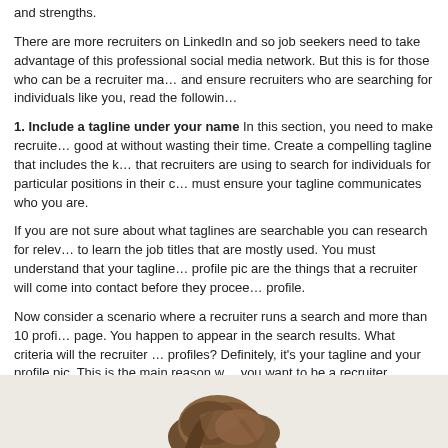and strengths.
There are more recruiters on LinkedIn and so job seekers need to take advantage of this professional social media network. But this is for those who can be a recruiter magnet and ensure recruiters who are searching for individuals like you, read the following
1. Include a tagline under your name In this section, you need to make recruiters know what you are good at without wasting their time. Create a compelling tagline that includes the keywords that recruiters are using to search for individuals for particular positions in their companies. You must ensure your tagline communicates who you are.
If you are not sure about what taglines are searchable you can research for relevant keywords to learn the job titles that are mostly used. You must understand that your tagline and your profile pic are the things that a recruiter will come into contact before they proceed to the profile.
Now consider a scenario where a recruiter runs a search and more than 10 profiles appear on a page. You happen to appear in the search results. What criteria will the recruiter use to filter profiles? Definitely, it's your tagline and your profile pic. This is the main reason why if you want to be a recruiter magnet on LinkedIn.
[Figure (photo): Partial photo of a person's head/hair at the bottom of the page, beige/tan background]